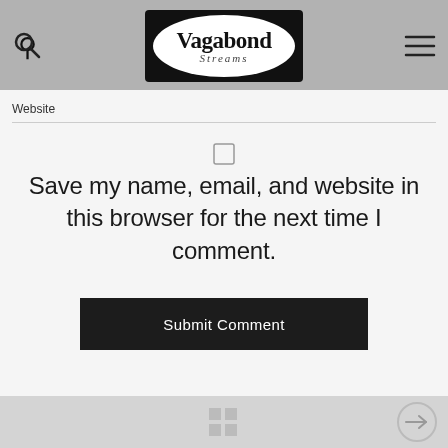[Figure (logo): Vagabond Streams logo — black rectangle with white oval containing the text 'Vagabond' in bold serif and 'Streams' in cursive below]
Website
Save my name, email, and website in this browser for the next time I comment.
[Figure (other): Submit Comment button — black rectangle with white text]
Grid icon and arrow circle navigation